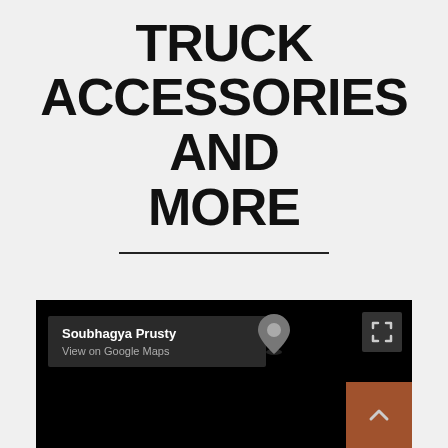TRUCK ACCESSORIES AND MORE
[Figure (screenshot): Google Maps embed showing a dark map with an info box labeled 'Soubhagya Prusty' with a 'View on Google Maps' link, a map pin marker, a fullscreen button in the top right corner, and a terracotta-colored scroll-to-top button with an upward chevron in the bottom right corner.]